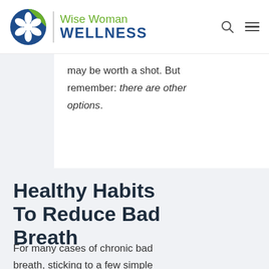Wise Woman WELLNESS
may be worth a shot. But remember: there are other options.
Healthy Habits To Reduce Bad Breath
For many cases of chronic bad breath, sticking to a few simple